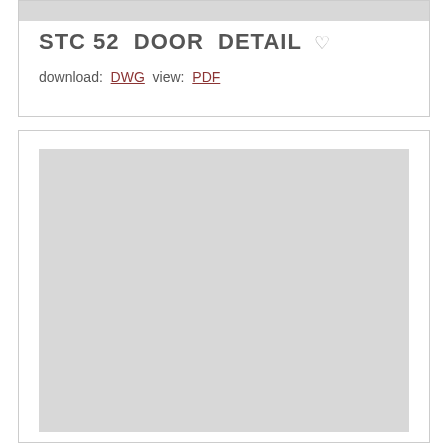[Figure (other): Gray placeholder thumbnail at the top of the first card]
STC 52  DOOR  DETAIL ♡
download:  DWG  view:  PDF
[Figure (other): Gray placeholder thumbnail filling the second card]